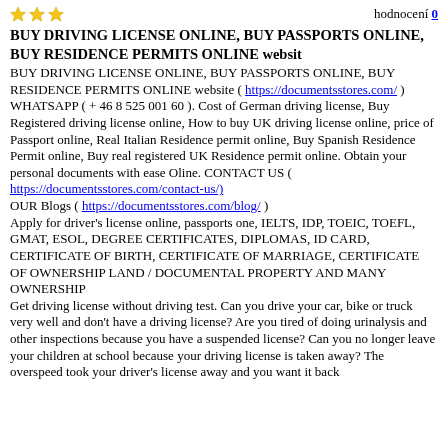hodnocení 0
BUY DRIVING LICENSE ONLINE, BUY PASSPORTS ONLINE, BUY RESIDENCE PERMITS ONLINE websit
BUY DRIVING LICENSE ONLINE, BUY PASSPORTS ONLINE, BUY RESIDENCE PERMITS ONLINE website ( https://documentsstores.com/ ) WHATSAPP ( + 46 8 525 001 60 ). Cost of German driving license, Buy Registered driving license online, How to buy UK driving license online, price of Passport online, Real Italian Residence permit online, Buy Spanish Residence Permit online, Buy real registered UK Residence permit online. Obtain your personal documents with ease Oline. CONTACT US ( https://documentsstores.com/contact-us/) OUR Blogs ( https://documentsstores.com/blog/ ) Apply for driver's license online, passports one, IELTS, IDP, TOEIC, TOEFL, GMAT, ESOL, DEGREE CERTIFICATES, DIPLOMAS, ID CARD, CERTIFICATE OF BIRTH, CERTIFICATE OF MARRIAGE, CERTIFICATE OF OWNERSHIP LAND / DOCUMENTAL PROPERTY AND MANY OWNERSHIP Get driving license without driving test. Can you drive your car, bike or truck very well and don't have a driving license? Are you tired of doing urinalysis and other inspections because you have a suspended license? Can you no longer leave your children at school because your driving license is taken away? The overspeed took your driver's license away and you want it back